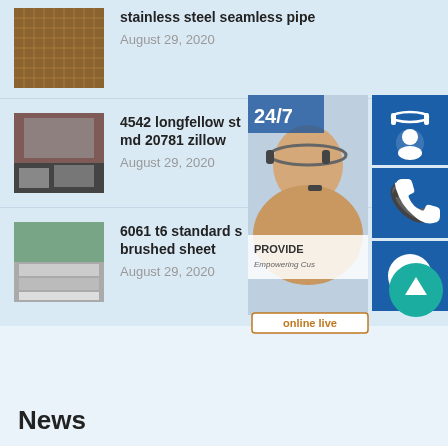stainless steel seamless pipe
August 29, 2020
4542 longfellow st md 20781 zillow
August 29, 2020
6061 t6 standard s brushed sheet
August 29, 2020
[Figure (screenshot): Customer service widget overlay showing a 24/7 chat support interface with headset icon, phone icon, Skype icon, and online live button. Also shows a teal scroll-to-top button.]
News